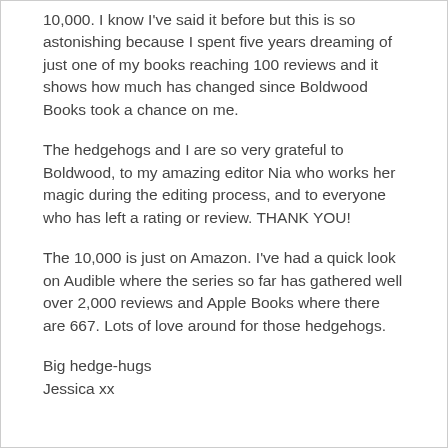10,000. I know I've said it before but this is so astonishing because I spent five years dreaming of just one of my books reaching 100 reviews and it shows how much has changed since Boldwood Books took a chance on me.
The hedgehogs and I are so very grateful to Boldwood, to my amazing editor Nia who works her magic during the editing process, and to everyone who has left a rating or review. THANK YOU!
The 10,000 is just on Amazon. I've had a quick look on Audible where the series so far has gathered well over 2,000 reviews and Apple Books where there are 667. Lots of love around for those hedgehogs.
Big hedge-hugs
Jessica xx